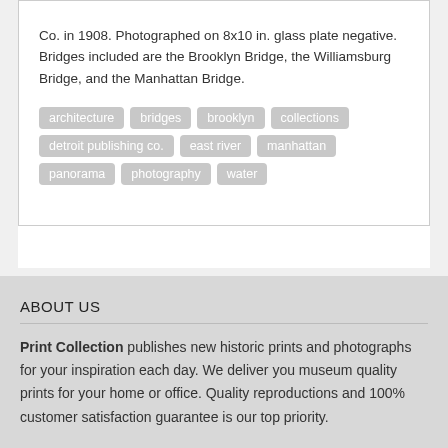Co. in 1908. Photographed on 8x10 in. glass plate negative. Bridges included are the Brooklyn Bridge, the Williamsburg Bridge, and the Manhattan Bridge.
architecture
bridges
brooklyn
collections
detroit publishing co.
east river
manhattan
panorama
photography
water
ABOUT US
Print Collection publishes new historic prints and photographs for your inspiration each day. We deliver you museum quality prints for your home or office. Quality reproductions and 100% customer satisfaction guarantee is our top priority.